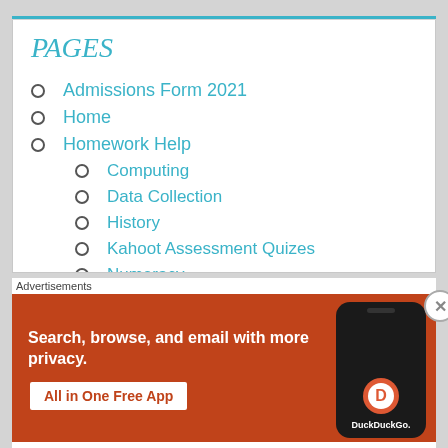PAGES
Admissions Form 2021
Home
Homework Help
Computing
Data Collection
History
Kahoot Assessment Quizes
Numeracy
Advertisements
[Figure (infographic): DuckDuckGo advertisement banner with orange background showing phone mockup and text: Search, browse, and email with more privacy. All in One Free App]